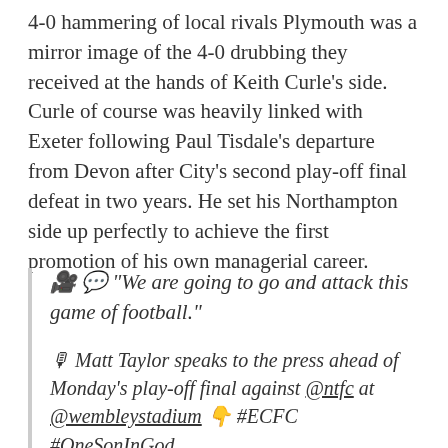4-0 hammering of local rivals Plymouth was a mirror image of the 4-0 drubbing they received at the hands of Keith Curle's side. Curle of course was heavily linked with Exeter following Paul Tisdale's departure from Devon after City's second play-off final defeat in two years. He set his Northampton side up perfectly to achieve the first promotion of his own managerial career.
🎥 💬 "We are going to go and attack this game of football."
🎙 Matt Taylor speaks to the press ahead of Monday's play-off final against @ntfc at @wembleystadium 👇 #ECFC #OneSonInGod